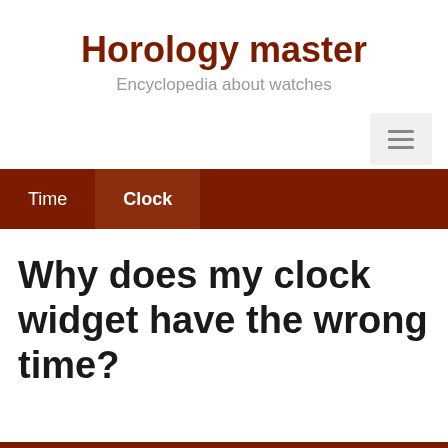Horology master
Encyclopedia about watches
≡
Time  Clock
Why does my clock widget have the wrong time?